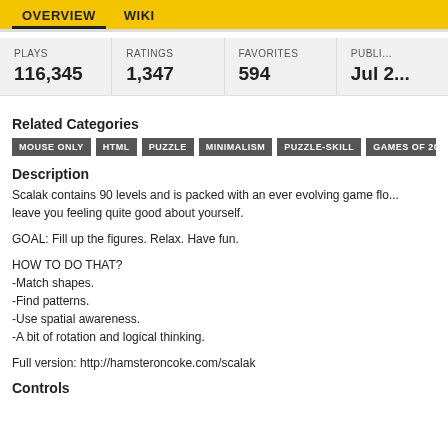OVERVIEW   WIKI
| PLAYS | RATINGS | FAVORITES | PUBLI... |
| --- | --- | --- | --- |
| 116,345 | 1,347 | 594 | Jul 2... |
Related Categories
MOUSE ONLY
HTML
PUZZLE
MINIMALISM
PUZZLE-SKILL
GAMES OF 20...
Description
Scalak contains 90 levels and is packed with an ever evolving game flo... leave you feeling quite good about yourself.
GOAL: Fill up the figures. Relax. Have fun.
HOW TO DO THAT?
-Match shapes.
-Find patterns.
-Use spatial awareness.
-A bit of rotation and logical thinking.
Full version: http://hamsteroncoke.com/scalak
Controls